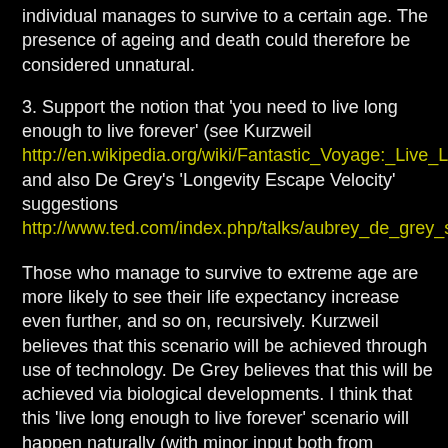individual manages to survive to a certain age. The presence of ageing and death could therefore be considered unnatural.
3. Support the notion that 'you need to live long enough to live forever' (see Kurzweil http://en.wikipedia.org/wiki/Fantastic_Voyage:_Live_Long and also De Grey's 'Longevity Escape Velocity' suggestions http://www.ted.com/index.php/talks/aubrey_de_grey_say
Those who manage to survive to extreme age are more likely to see their life expectancy increase even further, and so on, recursively. Kurzweil believes that this scenario will be achieved through use of technology. De Grey believes that this will be achieved via biological developments. I think that this 'live long enough to live forever' scenario will happen naturally (with minor input both from technology and from biological research). Those individuals who fully integrate their activities within the Global Brain will experience a natural-driven